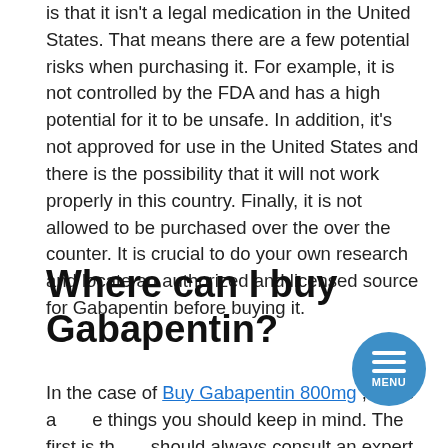is that it isn't a legal medication in the United States. That means there are a few potential risks when purchasing it. For example, it is not controlled by the FDA and has a high potential for it to be unsafe. In addition, it's not approved for use in the United States and there is the possibility that it will not work properly in this country. Finally, it is not allowed to be purchased over the over the counter. It is crucial to do your own research and locate an authorized and licensed source for Gabapentin before buying it.
Where can I buy Gabapentin?
In the case of Buy Gabapentin 800mg , there are some things you should keep in mind. The first is that you should always consult an expert before buying gabapentin. It is also important to read the reviews